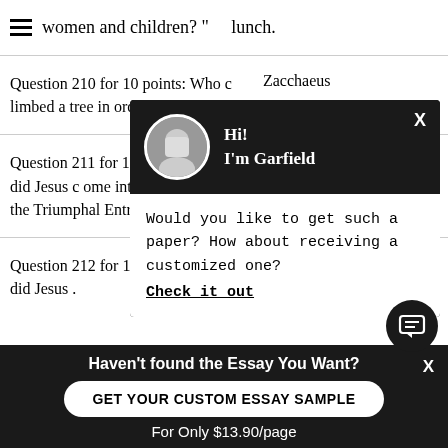women and children? "     lunch.
Question 210 for 10 points: Who c limbed a tree in order to see Jesus?
Zacchaeus
Question 211 for 10 points: How did Jesus c ome into Jerusalem at the Triumphal Entry?
Question 212 for 10 points: How did Jesus .
He washed the
[Figure (screenshot): Chat widget overlay with avatar photo of person named Garfield, greeting 'Hi! I'm Garfield', and message 'Would you like to get such a paper? How about receiving a customized one? Check it out']
Haven't found the Essay You Want?
GET YOUR CUSTOM ESSAY SAMPLE
For Only $13.90/page